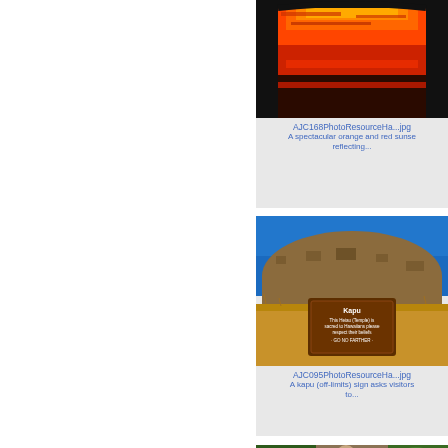[Figure (photo): A spectacular orange and red sunset photo viewed through an architectural arch/frame, with silhouettes and vivid fiery sky colors reflecting]
AJC168PhotoResourceHa...jpg
A spectacular orange and red sunse reflecting...
[Figure (photo): A Kapu (off-limits) sign in front of a rocky hill/heiau (Hawaiian temple). The brown sign reads: Kapu - This Heiau (Temple) is sacred to Hawaiians please respect their beliefs - GO NO FARTHER]
AJC095PhotoResourceHa...jpg
A kapu (off-limits) sign asks visitors to...
[Figure (photo): Partial view of another photo at the bottom of the page]